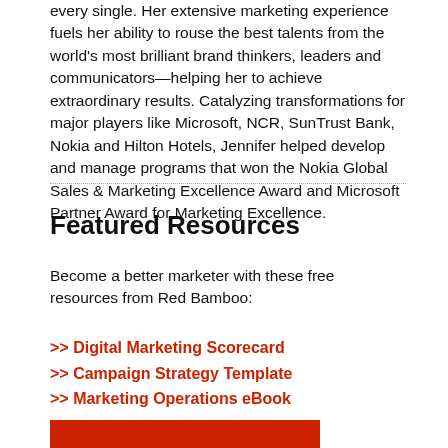every single. Her extensive marketing experience fuels her ability to rouse the best talents from the world's most brilliant brand thinkers, leaders and communicators—helping her to achieve extraordinary results. Catalyzing transformations for major players like Microsoft, NCR, SunTrust Bank, Nokia and Hilton Hotels, Jennifer helped develop and manage programs that won the Nokia Global Sales & Marketing Excellence Award and Microsoft Partner Award for Marketing Excellence.
Featured Resources
Become a better marketer with these free resources from Red Bamboo:
>> Digital Marketing Scorecard
>> Campaign Strategy Template
>> Marketing Operations eBook